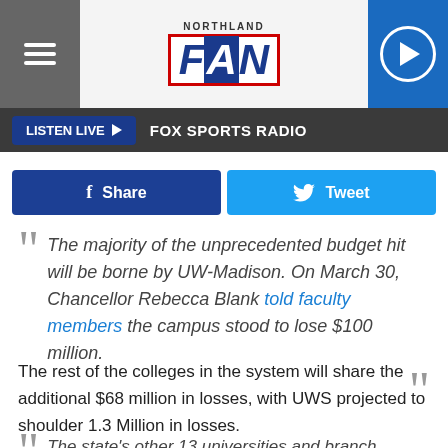[Figure (logo): Northland FAN logo with hamburger menu, header image, and play button]
LISTEN LIVE ▶  FOX SPORTS RADIO
Share   Tweet
The majority of the unprecedented budget hit will be borne by UW-Madison. On March 30, Chancellor Rebecca Blank told faculty members the campus stood to lose $100 million.
The rest of the colleges in the system will share the additional $68 million in losses, with UWS projected to shoulder 1.3 Million in losses.
The state's other 13 universities and branch